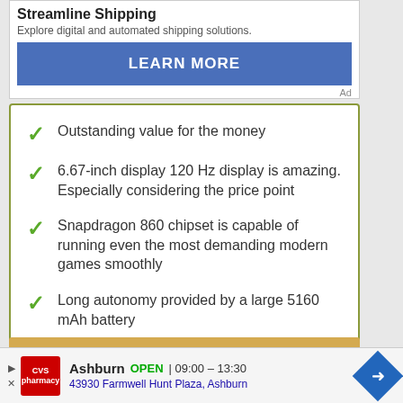Streamline Shipping
Explore digital and automated shipping solutions.
LEARN MORE
Ad
Outstanding value for the money
6.67-inch display 120 Hz display is amazing. Especially considering the price point
Snapdragon 860 chipset is capable of running even the most demanding modern games smoothly
Long autonomy provided by a large 5160 mAh battery
WHAT COULD BE IMPROVED
Ashburn  OPEN  09:00 – 13:30  43930 Farmwell Hunt Plaza, Ashburn